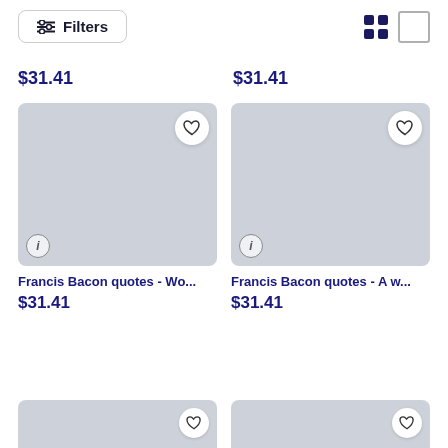Filters (button) | Grid view / List view icons
$31.41
$31.41
[Figure (screenshot): Product card image placeholder (grey rectangle) with heart icon top-right and info icon bottom-left. Title: Francis Bacon quotes - Wo... Price: $31.41]
[Figure (screenshot): Product card image placeholder (grey rectangle) with heart icon top-right and info icon bottom-left. Title: Francis Bacon quotes - A w... Price: $31.41]
Francis Bacon quotes - Wo...
Francis Bacon quotes - A w...
$31.41
$31.41
[Figure (screenshot): Partial product card image placeholder (grey rectangle) with heart icon top-right, partially visible at page bottom.]
[Figure (screenshot): Partial product card image placeholder (grey rectangle) with heart icon top-right, partially visible at page bottom.]